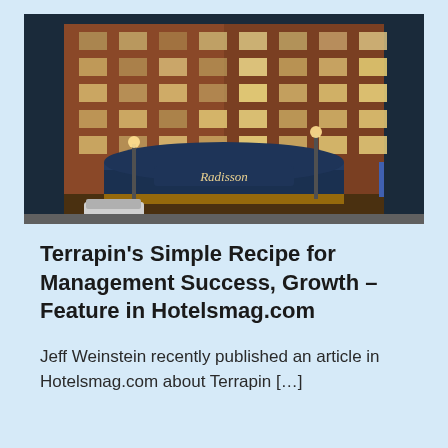[Figure (photo): Exterior night photograph of a Radisson hotel, a tall multi-story red brick building with illuminated windows, a lit entrance canopy with the Radisson logo, street lights, and a white van parked in front.]
Terrapin's Simple Recipe for Management Success, Growth – Feature in Hotelsmag.com
Jeff Weinstein recently published an article in Hotelsmag.com about Terrapin […]